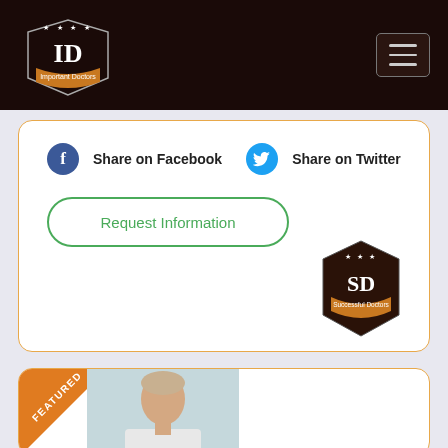[Figure (logo): Important Doctors shield logo with ID initials and orange banner on dark brown background]
[Figure (illustration): Hamburger menu button icon in top right corner]
[Figure (illustration): Facebook share button with blue circle F icon]
Share on Facebook
[Figure (illustration): Twitter share button with blue circle bird icon]
Share on Twitter
Request Information
[Figure (logo): Successful Doctors SD shield badge logo]
[Figure (photo): Featured doctor photo - blonde woman in white coat looking at camera]
FEATURED